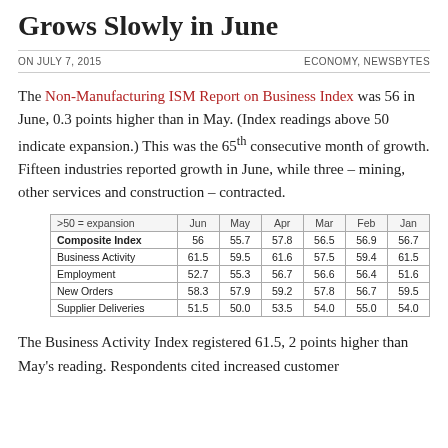Grows Slowly in June
ON JULY 7, 2015
ECONOMY, NEWSBYTES
The Non-Manufacturing ISM Report on Business Index was 56 in June, 0.3 points higher than in May. (Index readings above 50 indicate expansion.) This was the 65th consecutive month of growth. Fifteen industries reported growth in June, while three – mining, other services and construction – contracted.
| >50 = expansion | Jun | May | Apr | Mar | Feb | Jan |
| --- | --- | --- | --- | --- | --- | --- |
| Composite Index | 56 | 55.7 | 57.8 | 56.5 | 56.9 | 56.7 |
| Business Activity | 61.5 | 59.5 | 61.6 | 57.5 | 59.4 | 61.5 |
| Employment | 52.7 | 55.3 | 56.7 | 56.6 | 56.4 | 51.6 |
| New Orders | 58.3 | 57.9 | 59.2 | 57.8 | 56.7 | 59.5 |
| Supplier Deliveries | 51.5 | 50.0 | 53.5 | 54.0 | 55.0 | 54.0 |
The Business Activity Index registered 61.5, 2 points higher than May's reading. Respondents cited increased customer